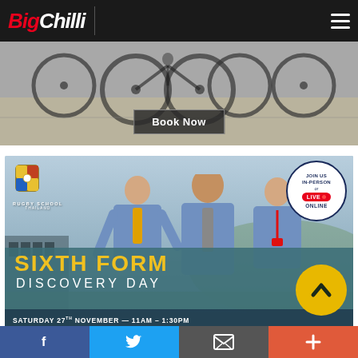BigChilli
[Figure (photo): Photograph of bicycles on a sandy/dusty ground, banner ad with Book Now button]
[Figure (photo): Rugby School Thailand advertisement. Three students in school uniforms. Text: JOIN US IN-PERSON OR LIVE ONLINE. SIXTH FORM DISCOVERY DAY. SATURDAY 27TH NOVEMBER — 11AM – 1:30PM]
Social media bar: Facebook, Twitter, Email, Plus